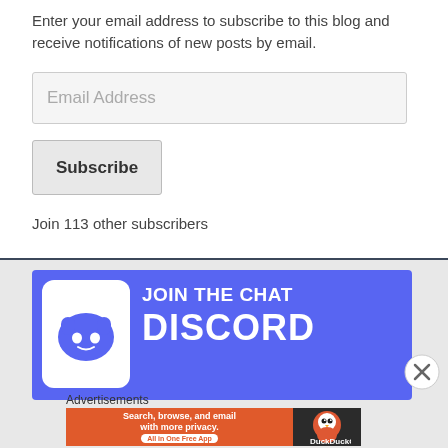Enter your email address to subscribe to this blog and receive notifications of new posts by email.
[Figure (screenshot): Email Address input field placeholder]
[Figure (screenshot): Subscribe button]
Join 113 other subscribers
[Figure (illustration): Discord Join the Chat banner with Discord logo]
Advertisements
[Figure (screenshot): DuckDuckGo advertisement: Search, browse, and email with more privacy. All in One Free App]